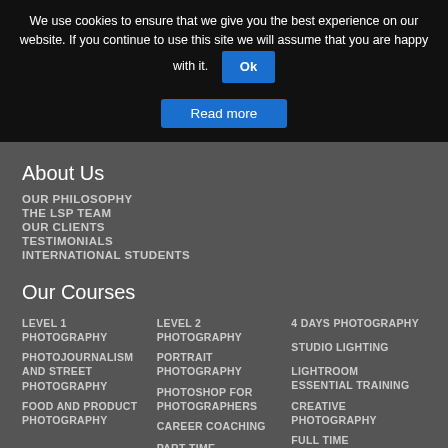We use cookies to ensure that we give you the best experience on our website. If you continue to use this site we will assume that you are happy with it.
Ok
Read more
About Us
OUR PHILOSOPHY
THE LSP TEAM
OUR CLIENTS
TESTIMONIALS
INTERNATIONAL STUDENTS
Our Courses
LEVEL 1 PHOTOGRAPHY
PHOTOJOURNALISM AND STREET PHOTOGRAPHY
FOOD AND PRODUCT PHOTOGRAPHY
LEVEL 2 PHOTOGRAPHY
PORTRAIT PHOTOGRAPHY
PHOTOSHOP FOR PHOTOGRAPHERS
CAREER COACHING
PART TIME PROFESSIONAL PHOTOGRAPHY COURSE
4 DAYS PHOTOGRAPHY
STUDIO LIGHTING
LIGHTROOM ESSENTIAL TRAINING
CREATIVE PHOTOGRAPHY
FULL TIME PROFESSIONAL PHOTOGRAPHY COURSE
[Figure (logo): PayPal circular logo with white background and blue P symbol]